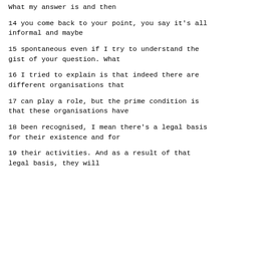What my answer is and then
14      you come back to your point, you say it's all informal and maybe
15      spontaneous even if I try to understand the gist of your question.  What
16      I tried to explain is that indeed there are different organisations that
17      can play a role, but the prime condition is that these organisations have
18      been recognised, I mean there's a legal basis for their existence and for
19      their activities.  And as a result of that legal basis, they will